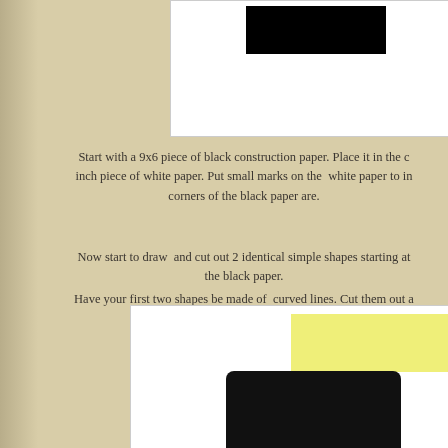[Figure (photo): White paper with a black rectangle shape placed on it, viewed from above on a tan background]
Start with a 9x6 piece of black construction paper. Place it in the c inch piece of white paper. Put small marks on the white paper to in corners of the black paper are.
Now start to draw and cut out 2 identical simple shapes starting at the black paper.
Have your first two shapes be made of curved lines. Cut them out a Do not do any trimming at all.
[Figure (photo): White paper with yellow area and black cut shapes displayed on a tan background]